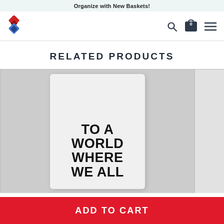Organize with New Baskets!
[Figure (logo): Red and blue diamond/cross logo]
RELATED PRODUCTS
[Figure (photo): Product image showing a white card/book with bold black text reading 'TO A WORLD WHERE WE ALL' on a light grey background]
ADD TO CART